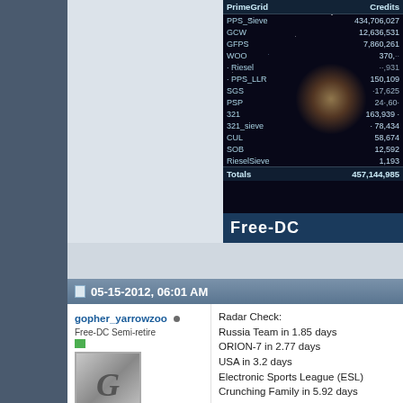[Figure (screenshot): PrimeGrid credits table on space background showing various project credits and totals, with Free-DC banner at bottom]
05-15-2012, 06:01 AM
gopher_yarrowzoo
Free-DC Semi-retire
Join Date: Mar 2002
Location: Santa Ana, CA
Posts: 3,985
Radar Check:
Russia Team in 1.85 days
ORION-7 in 2.77 days
USA in 3.2 days
Electronic Sports League (ESL)
Crunching Family in 5.92 days

Looks like a fun 5 days.....